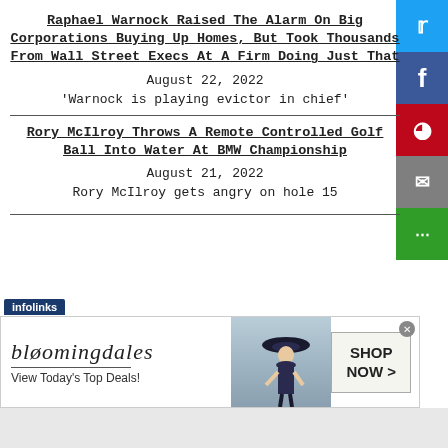Raphael Warnock Raised The Alarm On Big Corporations Buying Up Homes, But Took Thousands From Wall Street Execs At A Firm Doing Just That
August 22, 2022
'Warnock is playing evictor in chief'
Rory McIlroy Throws A Remote Controlled Golf Ball Into Water At BMW Championship
August 21, 2022
Rory McIlroy gets angry on hole 15
[Figure (other): Bloomingdale's advertisement banner with woman in hat, 'View Today's Top Deals!' and 'SHOP NOW >' button, with infolinks label]